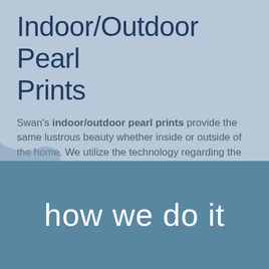Indoor/Outdoor Pearl Prints
Swan's indoor/outdoor pearl prints provide the same lustrous beauty whether inside or outside of the home. We utilize the technology regarding the base of the color and implement the appropriate set of colorants depending on the desired lightfastness of our customers.
how we do it